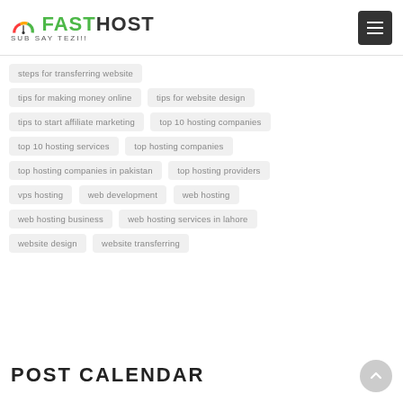FASTHOST SUB SAY TEZI!!
steps for transferring website
tips for making money online
tips for website design
tips to start affiliate marketing
top 10 hosting companies
top 10 hosting services
top hosting companies
top hosting companies in pakistan
top hosting providers
vps hosting
web development
web hosting
web hosting business
web hosting services in lahore
website design
website transferring
POST CALENDAR